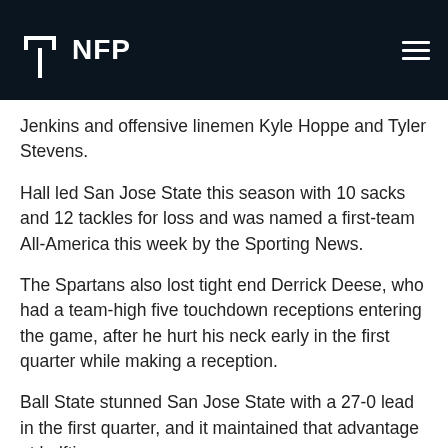NFP
Jenkins and offensive linemen Kyle Hoppe and Tyler Stevens.
Hall led San Jose State this season with 10 sacks and 12 tackles for loss and was named a first-team All-America this week by the Sporting News.
The Spartans also lost tight end Derrick Deese, who had a team-high five touchdown receptions entering the game, after he hurt his neck early in the first quarter while making a reception.
Ball State stunned San Jose State with a 27-0 lead in the first quarter, and it maintained that advantage at halftime.
Antonio Phillips started the scoring returning an